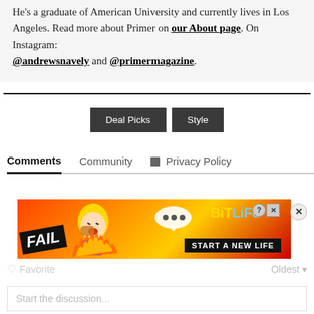He's a graduate of American University and currently lives in Los Angeles. Read more about Primer on our About page. On Instagram: @andrewsnavely and @primermagazine.
Deal Picks  Style
Comments  Community  Privacy Policy
[Figure (screenshot): BitLife advertisement banner showing FAIL text, animated character, speech bubble, BitLife logo and START A NEW LIFE tagline]
Favorite  Oldest
Start the discussion...